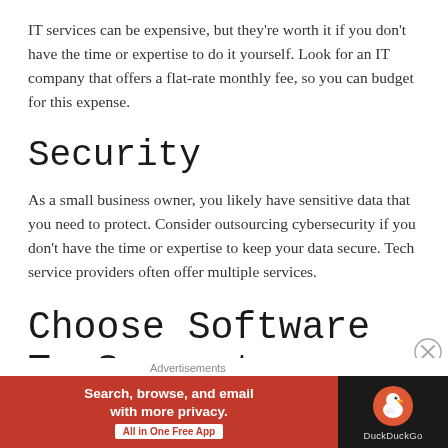IT services can be expensive, but they're worth it if you don't have the time or expertise to do it yourself. Look for an IT company that offers a flat-rate monthly fee, so you can budget for this expense.
Security
As a small business owner, you likely have sensitive data that you need to protect. Consider outsourcing cybersecurity if you don't have the time or expertise to keep your data secure. Tech service providers often offer multiple services.
Choose Software To Support Your Tech Needs
Advertisements
[Figure (screenshot): DuckDuckGo advertisement banner: orange left panel with text 'Search, browse, and email with more privacy.' and 'All in One Free App' button; dark right panel with DuckDuckGo duck logo and 'DuckDuckGo' label.]